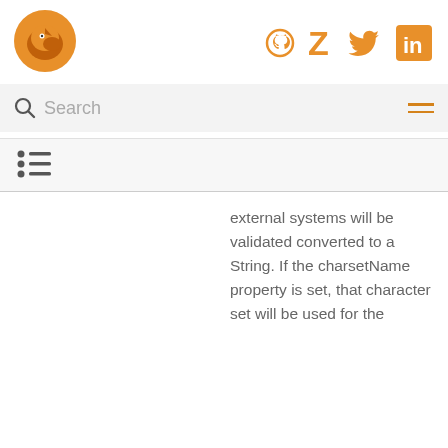[Figure (logo): Fox/animal logo in orange circle, top left]
[Figure (logo): Social icons: GitHub, Zotero, Twitter, LinkedIn in orange, top right]
[Figure (infographic): Search bar with magnifying glass icon and text 'Search', hamburger menu icon on right]
[Figure (infographic): List/TOC icon (three horizontal lines with dots), navigation area]
external systems will be validated converted to a String. If the charsetName property is set, that character set will be used for the